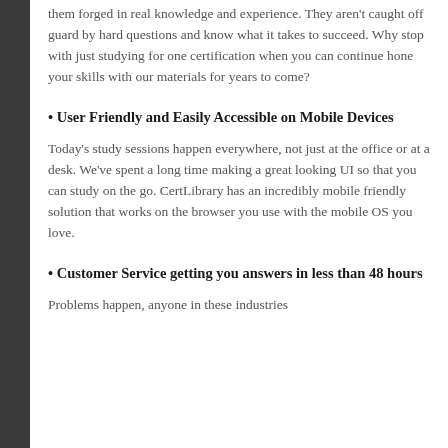them forged in real knowledge and experience. They aren't caught off guard by hard questions and know what it takes to succeed. Why stop with just studying for one certification when you can continue hone your skills with our materials for years to come?
• User Friendly and Easily Accessible on Mobile Devices
Today's study sessions happen everywhere, not just at the office or at a desk. We've spent a long time making a great looking UI so that you can study on the go. CertLibrary has an incredibly mobile friendly solution that works on the browser you use with the mobile OS you love.
• Customer Service getting you answers in less than 48 hours
Problems happen, anyone in these industries